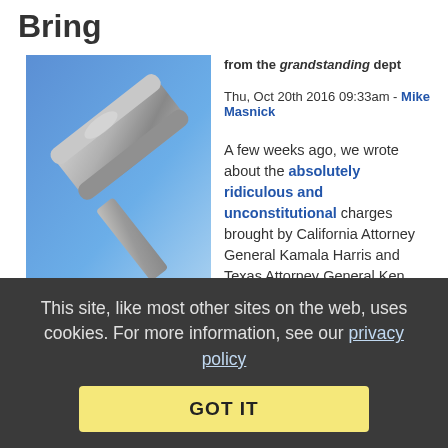Bring
from the grandstanding dept
Thu, Oct 20th 2016 09:33am - Mike Masnick
[Figure (illustration): Illustration of a gray gavel on a blue gradient background]
Legal Issues
A few weeks ago, we wrote about the absolutely ridiculous and unconstitutional charges brought by California Attorney General Kamala Harris and Texas Attorney General Ken Paxton against the online classified site Backpage.com. We focused on the fact that Section 230 clearly protects Backpage from such a lawsuit, and went into detail on the ridiculousness of Harris' “investigator” using the fact that Backpage itself actually worked with him to track down, remove, and block ads for prostitution as some sort of evidence of wrongdoing.
The execs are now hitting back — as they should. They’v
This site, like most other sites on the web, uses cookies. For more information, see our privacy policy
GOT IT